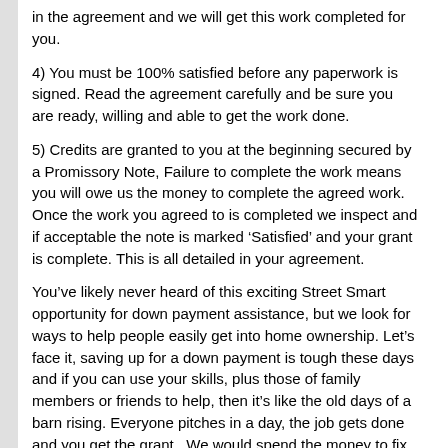in the agreement and we will get this work completed for you.
4) You must be 100% satisfied before any paperwork is signed. Read the agreement carefully and be sure you are ready, willing and able to get the work done.
5) Credits are granted to you at the beginning secured by a Promissory Note, Failure to complete the work means you will owe us the money to complete the agreed work. Once the work you agreed to is completed we inspect and if acceptable the note is marked ‘Satisfied’ and your grant is complete. This is all detailed in your agreement.
You’ve likely never heard of this exciting Street Smart opportunity for down payment assistance, but we look for ways to help people easily get into home ownership. Let’s face it, saving up for a down payment is tough these days and if you can use your skills, plus those of family members or friends to help, then it’s like the old days of a barn rising. Everyone pitches in a day, the job gets done and you get the grant.  We would spend the money to fix up the house anyway, so